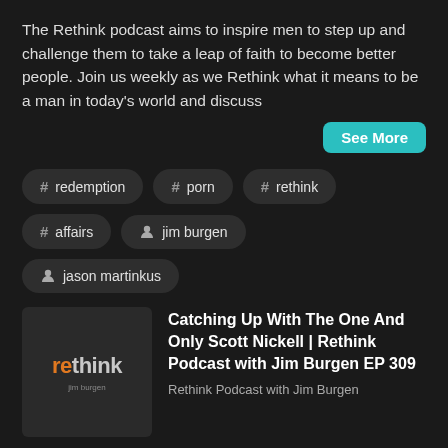The Rethink podcast aims to inspire men to step up and challenge them to take a leap of faith to become better people. Join us weekly as we Rethink what it means to be a man in today's world and discuss
See More
# redemption
# porn
# rethink
# affairs
jim burgen
jason martinkus
[Figure (illustration): Rethink podcast logo — dark gray square background with 're' in orange and 'think' in light gray, with small text 'jim burgen' below]
Catching Up With The One And Only Scott Nickell | Rethink Podcast with Jim Burgen EP 309
Rethink Podcast with Jim Burgen